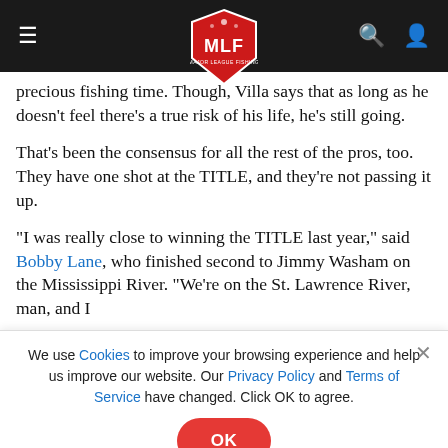MLF Major League Fishing navigation header
precious fishing time. Though, Villa says that as long as he doesn't feel there's a true risk of his life, he's still going.
That's been the consensus for all the rest of the pros, too. They have one shot at the TITLE, and they're not passing it up.
"I was really close to winning the TITLE last year," said Bobby Lane, who finished second to Jimmy Washam on the Mississippi River. "We're on the St. Lawrence River, man, and I
We use Cookies to improve your browsing experience and help us improve our website. Our Privacy Policy and Terms of Service have changed. Click OK to agree.
[Figure (screenshot): U.S. Air Force advertisement banner: FIND YOUR PATH TO GREATNESS - MORE THAN ONE WAY TO SERVE - START NOW]